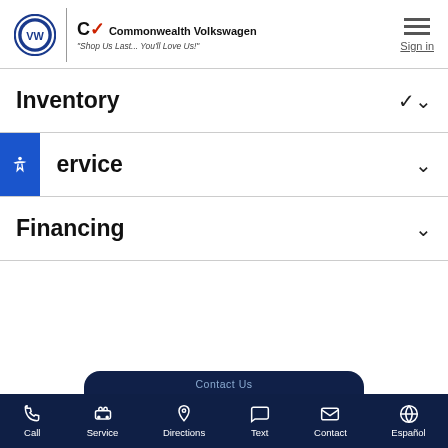Commonwealth Volkswagen | Shop Us Last... You'll Love Us!
Inventory
Service
Financing
Call | Service | Directions | Text | Contact | Español